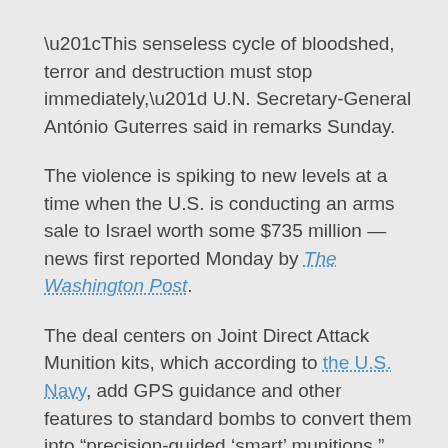“This senseless cycle of bloodshed, terror and destruction must stop immediately,” U.N. Secretary-General António Guterres said in remarks Sunday.
The violence is spiking to new levels at a time when the U.S. is conducting an arms sale to Israel worth some $735 million — news first reported Monday by The Washington Post.
The deal centers on Joint Direct Attack Munition kits, which according to the U.S. Navy, add GPS guidance and other features to standard bombs to convert them into “precision-guided ‘smart’ munitions.”
Details about the sale were confirmed to NPR by the office of Rep. Michael McCaul, R-Texas, the ranking member of the House Foreign Affairs Committee.